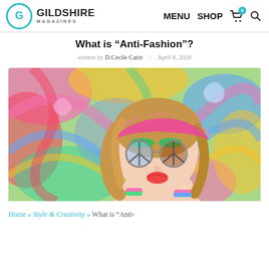Gildshire Magazines | MENU  SHOP
What is “Anti-Fashion”?
written by D.Cecile Catin | April 8, 2020
[Figure (photo): Young woman with colorful psychedelic swirled background wearing peace-sign sunglasses, pink headscarf, and colorful bracelets, making a kissing face]
Home » Style & Creativity » What is “Anti-